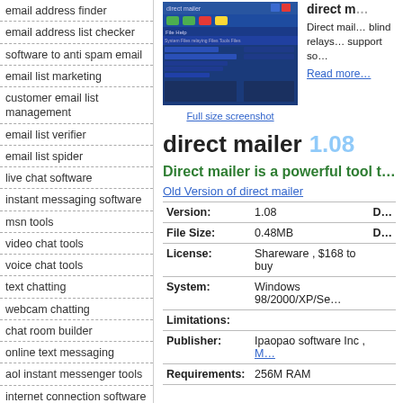email address finder
email address list checker
software to anti spam email
email list marketing
customer email list management
email list verifier
email list spider
live chat software
instant messaging software
msn tools
video chat tools
voice chat tools
text chatting
webcam chatting
chat room builder
online text messaging
aol instant messenger tools
internet connection software
connection monitoring
optimize connection speed
[Figure (screenshot): Screenshot of direct mailer software UI with blue interface]
Full size screenshot
direct mailer 1.08
Direct mailer is a powerful tool t…
Old Version of direct mailer
| Field | Value | Extra |
| --- | --- | --- |
| Version: | 1.08 | D… |
| File Size: | 0.48MB | D… |
| License: | Shareware , $168 to buy |  |
| System: | Windows 98/2000/XP/Se… |  |
| Limitations: |  |  |
| Publisher: | Ipaopao software Inc , M… |  |
| Requirements: | 256M RAM |  |
Direct mail… blind relays… support so…
Read more…